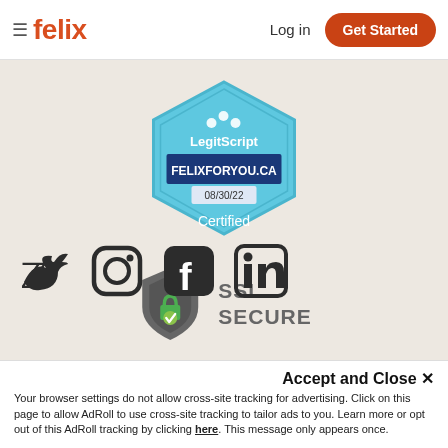≡ felix   Log in   Get Started
[Figure (logo): LegitScript certified badge for FELIXFORYOU.CA dated 08/30/22. Hexagonal blue badge with LegitScript logo and 'Certified' text.]
[Figure (logo): SSL Secure badge: grey shield with green padlock checkmark icon, text 'SSL SECURE']
[Figure (other): Social media icons: Twitter, Instagram, Facebook, LinkedIn]
Accept and Close ✕
Your browser settings do not allow cross-site tracking for advertising. Click on this page to allow AdRoll to use cross-site tracking to tailor ads to you. Learn more or opt out of this AdRoll tracking by clicking here. This message only appears once.